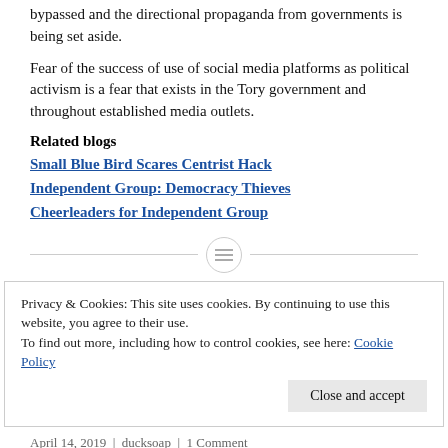bypassed and the directional propaganda from governments is being set aside.
Fear of the success of use of social media platforms as political activism is a fear that exists in the Tory government and throughout established media outlets.
Related blogs
Small Blue Bird Scares Centrist Hack
Independent Group: Democracy Thieves
Cheerleaders for Independent Group
Privacy & Cookies: This site uses cookies. By continuing to use this website, you agree to their use.
To find out more, including how to control cookies, see here: Cookie Policy
April 14, 2019  |  ducksoap  |  1 Comment